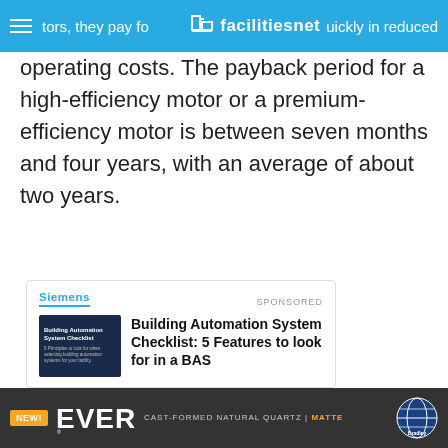tors, they pay fo... quickly in reduced | facilitiesnet
operating costs. The payback period for a high-efficiency motor or a premium-efficiency motor is between seven months and four years, with an average of about two years.
[Figure (screenshot): Sponsored ad card from Siemens: Building Automation System Checklist: 5 Features to look for in a BAS, with email and name input fields]
[Figure (screenshot): Bottom banner advertisement for EVERO Cast-Formed Natural Quartz Matte by Bradley, with NEW badge]